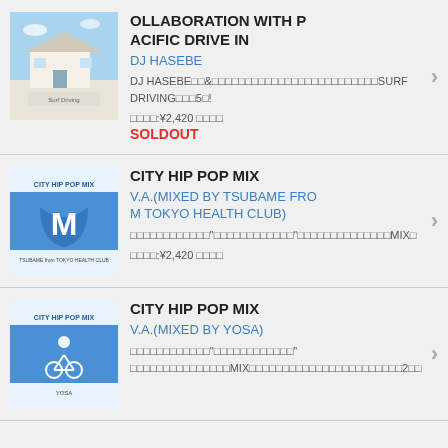[Figure (illustration): Album cover for Surf Driving 5 - blue sky and beach house scene]
OLLABORATION WITH PACIFIC DRIVE IN
DJ HASEBE
DJ HASEBE□□&□□□□□□□□□□□□□□□□□□□□□□□□□SURF DRIVING□□□5□!
□□□□:¥2,420 □□□□
SOLDOUT
[Figure (illustration): Album cover for City Hip Pop Mix - blue graphic design]
CITY HIP POP MIX
V.A.(MIXED BY TSUBAME FROM TOKYO HEALTH CLUB)
□□□□□□□□□□□□"□□□□□□□□□□□□"□□□□□□□□□□□□□□MIX□
□□□□:¥2,420 □□□□
[Figure (illustration): Album cover for City Hip Pop Mix by YOSA - blue graphic with cyclist]
CITY HIP POP MIX
V.A.(MIXED BY YOSA)
□□□□□□□□□□□□"□□□□□□□□□□□□" □□□□□□□□□□□□□□□MIX□□□□□□□□□□□□□□□□□□□□□□□2□□